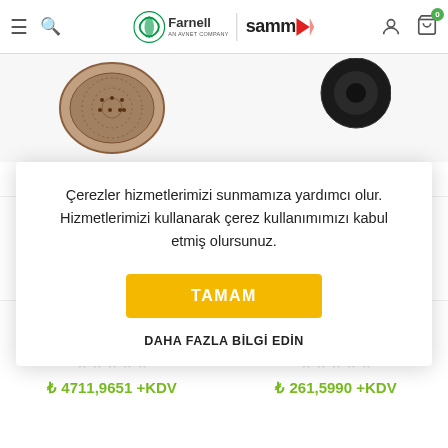[Figure (screenshot): Farnell | Samm website header with hamburger menu, search icon, logos, user/cart icons]
[Figure (photo): Partial product image top-left: speaker/microphone grille product]
[Figure (photo): Partial product image top-right: dark circular product]
9679659 VISATON 2140
9679412 PRO SIGNAL
Çerezler hizmetlerimizi sunmamıza yardımcı olur. Hizmetlerimizi kullanarak çerez kullanımımızı kabul etmiş olursunuz.
TAMAM
DAHA FAZLA BİLGİ EDİN
8651833 PRO SIGNAL LSM413 Video Monitor Kit,
₺ 4711,9651 +KDV
725511 AF INTERNATIONAL CDL000
₺ 261,5990 +KDV